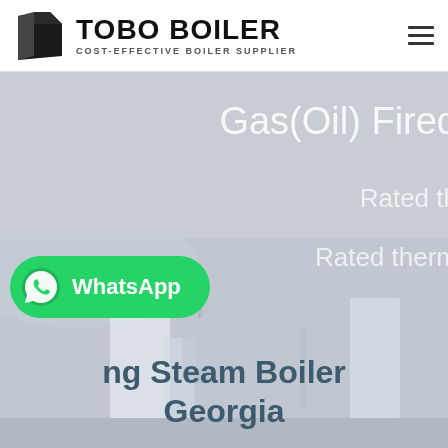[Figure (logo): Tobo Boiler logo with black geometric icon and bold text 'TOBO BOILER' with tagline 'COST-EFFECTIVE BOILER SUPPLIER']
[Figure (photo): Hero banner with light gray/blue industrial background showing boiler equipment. Partially visible text overlay reads 'Gas(Oil) Fired', 'Rated th...', 'Rated therm...' on the right side. Bottom overlay shows 'ng Steam Boiler Georgia' in dark blue bold text. Green WhatsApp button on lower left.]